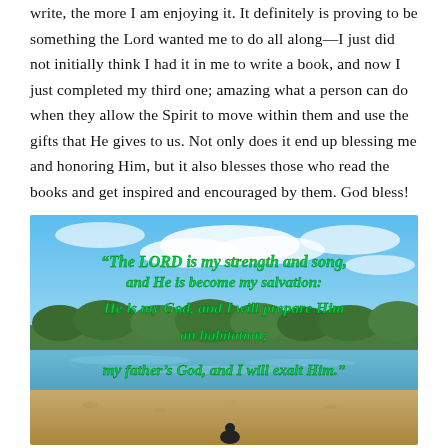write, the more I am enjoying it. It definitely is proving to be something the Lord wanted me to do all along—I just did not initially think I had it in me to write a book, and now I just completed my third one; amazing what a person can do when they allow the Spirit to move within them and use the gifts that He gives to us. Not only does it end up blessing me and honoring Him, but it also blesses those who read the books and get inspired and encouraged by them. God bless!
[Figure (photo): Outdoor scenic photo of a lake with sandy beach, trees and blue sky with clouds. Overlaid in green italic script text: "The LORD is my strength and song, and He is become my salvation: He is my God, and I will prepare Him an habitation; my father's God, and I will exalt Him."]